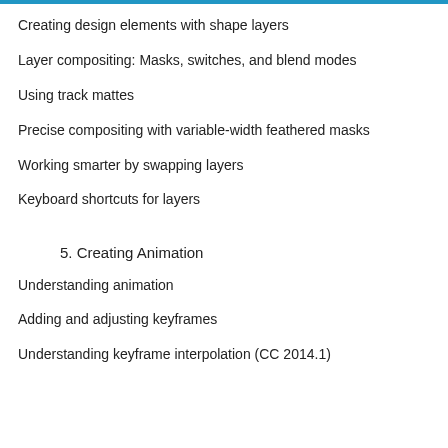Creating design elements with shape layers
Layer compositing: Masks, switches, and blend modes
Using track mattes
Precise compositing with variable-width feathered masks
Working smarter by swapping layers
Keyboard shortcuts for layers
5. Creating Animation
Understanding animation
Adding and adjusting keyframes
Understanding keyframe interpolation (CC 2014.1)